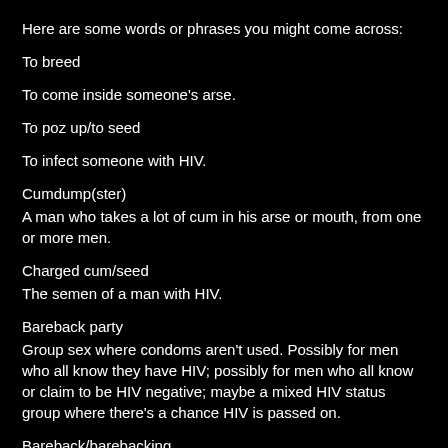Here are some words or phrases you might come across:
To breed
To come inside someone's arse.
To poz up/to seed
To infect someone with HIV.
Cumdump(ster)
A man who takes a lot of cum in his arse or mouth, from one or more men.
Charged cum/seed
The semen of a man with HIV.
Bareback party
Group sex where condoms aren't used. Possibly for men who all know they have HIV; possibly for men who all know or claim to be HIV negative; maybe a mixed HIV status group where there's a chance HIV is passed on.
Bareback/barebacking